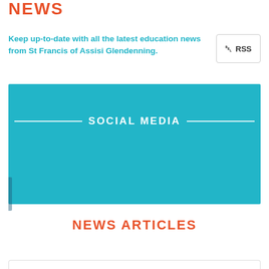NEWS
Keep up-to-date with all the latest education news from St Francis of Assisi Glendenning.
[Figure (infographic): Teal/turquoise banner block with centered white text 'SOCIAL MEDIA' flanked by horizontal white lines on each side, on a solid teal background.]
NEWS ARTICLES